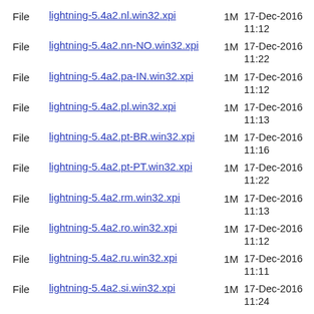File lightning-5.4a2.nl.win32.xpi 1M 17-Dec-2016 11:12
File lightning-5.4a2.nn-NO.win32.xpi 1M 17-Dec-2016 11:22
File lightning-5.4a2.pa-IN.win32.xpi 1M 17-Dec-2016 11:12
File lightning-5.4a2.pl.win32.xpi 1M 17-Dec-2016 11:13
File lightning-5.4a2.pt-BR.win32.xpi 1M 17-Dec-2016 11:16
File lightning-5.4a2.pt-PT.win32.xpi 1M 17-Dec-2016 11:22
File lightning-5.4a2.rm.win32.xpi 1M 17-Dec-2016 11:13
File lightning-5.4a2.ro.win32.xpi 1M 17-Dec-2016 11:12
File lightning-5.4a2.ru.win32.xpi 1M 17-Dec-2016 11:11
File lightning-5.4a2.si.win32.xpi 1M 17-Dec-2016 11:24
File lightning-5.4a2.sk.win32.xpi 1M 17-Dec-2016 12:00